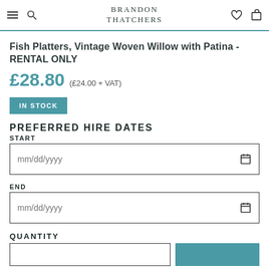BRANDON THATCHERS
Fish Platters, Vintage Woven Willow with Patina - RENTAL ONLY
£28.80 (£24.00 + VAT)
IN STOCK
PREFERRED HIRE DATES
START
mm/dd/yyyy
END
mm/dd/yyyy
QUANTITY